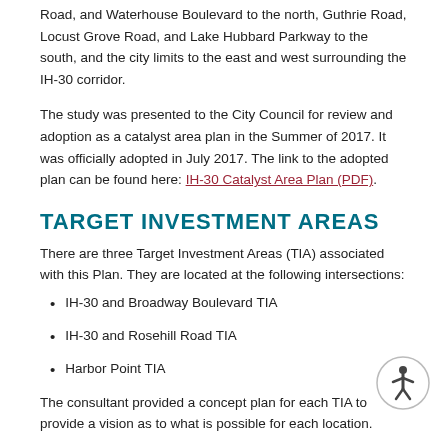Road, and Waterhouse Boulevard to the north, Guthrie Road, Locust Grove Road, and Lake Hubbard Parkway to the south, and the city limits to the east and west surrounding the IH-30 corridor.
The study was presented to the City Council for review and adoption as a catalyst area plan in the Summer of 2017. It was officially adopted in July 2017. The link to the adopted plan can be found here: IH-30 Catalyst Area Plan (PDF).
TARGET INVESTMENT AREAS
There are three Target Investment Areas (TIA) associated with this Plan. They are located at the following intersections:
IH-30 and Broadway Boulevard TIA
IH-30 and Rosehill Road TIA
Harbor Point TIA
The consultant provided a concept plan for each TIA to provide a vision as to what is possible for each location.